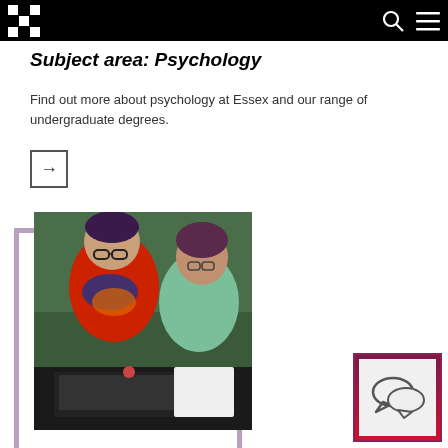University of Essex navigation header
Subject area: Psychology
Find out more about psychology at Essex and our range of undergraduate degrees.
[Figure (other): Arrow button icon in a square border]
[Figure (photo): Two women working together at a laptop computer, one wearing glasses and a red top with floral scarf, the other in a floral top, with a purple decorative border frame]
[Figure (other): Chat speech bubble icon in a square with gradient purple-red border]